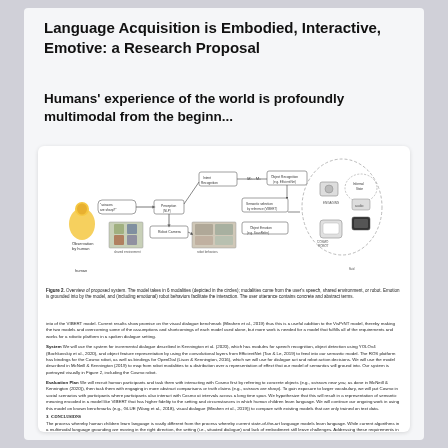Language Acquisition is Embodied, Interactive, Emotive: a Research Proposal
Humans' experience of the world is profoundly multimodal from the beginn...
[Figure (schematic): Overview of proposed system diagram showing modalities (speech, shared environment, robot), model components including human observer, robot camera, semantic model, and robot behaviors with object recognition, audio, and visual dialogue elements.]
Figure 2. Overview of proposed system. The model takes in 6 modalities (depicted in the circles); modalities come from the user's speech, shared environment, or robot. Emotion is grounded into by the model, and (including emotional) robot behaviors facilitate the interaction. The user utterance contains concrete and abstract terms.
into of the VIBERT model. Current results show promise on the visual dialogue benchmark (Mirahen et al., 2019) thus this is a useful addition to the VisPrNT model, thereby making the two models and overcoming some of the assumptions and shortcomings of each model used alone, but more work is needed for a model that fulfills all of the requirements and works for a robotic platform in a spoken dialogue setting.
System We will use the system for incremental dialogue described in Kennington et al. (2020), which has modules for speech recognition, object detection using YOLOv4 (Bochkovskiy et al., 2020), and object feature representation by using the convolutional layers from EfficientNet (Tan & Le, 2019) to feed into our semantic model. The ROS platform has bindings for the Cosmo robot, as well as bindings for OpenDial (Lison & Kennington, 2016), which we will use for dialogue act and robot action decisions. We will use the model described in McNeill & Kennington (2019) to map from robot modalities to a distribution over a representation of effect that our model of semantics will ground into. Our system is portrayed visually in Figure 2, including the Cosmo robot.
Evaluation Plan We will recruit human participants and task them with interacting with Cosmo first by referring to concrete objects (e.g., scissors near you, as done in McNeill & Kennington (2020)), then task them with engaging in more abstract comparisons or truth claims (e.g., scissors are sharp). To gain exposure to larger vocabulary, we will put Cosmo in social scenarios with participants where participants also interact with Cosmo at intervals across a long time span. We hypothesize that this will result in a representation of semantic meaning encoded in a model like VIBERT that has higher fidelity to the setting and circumstance in which human children learn language. We will continue our ongoing work in using this model on known benchmarks (e.g., GLUE (Wang et al., 2018), visual dialogue (Mirahen et al., 2019)) to compare with existing models that are only trained on text data.
3 Conclusions
The process whereby human children learn language is vastly different from the process whereby current state-of-the-art language models learn language. While current algorithms in a multimodal language grounding are moving in the right direction, the setting (i.e., situated dialogue) and lack of embodiment still leave challenges. Addressing these requirements in a single system is by no means...